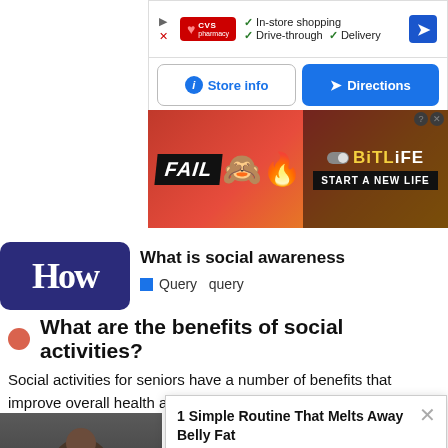[Figure (screenshot): CVS Pharmacy ad showing 'In-store shopping', 'Drive-through', 'Delivery' options with arrow navigation icon]
[Figure (screenshot): BitLife 'FAIL - START A NEW LIFE' game advertisement banner]
[Figure (screenshot): How.com logo and search area showing 'What is social awareness' with Query query labels]
[Figure (screenshot): Store Info and Directions buttons bar]
What are the benefits of social activities?
Social activities for seniors have a number of benefits that improve overall health and well-being, including: Improved
[Figure (photo): Photo of a smiling Black man wearing glasses, cooking or holding food]
[Figure (screenshot): Popup ad: '1 Simple Routine That Melts Away Belly Fat' from Health Gut Boost, Sponsored]
[Figure (screenshot): BitLife 'FAIL - START A NEW LIFE' advertisement at bottom overlapping page content]
Wh... move...
ntents